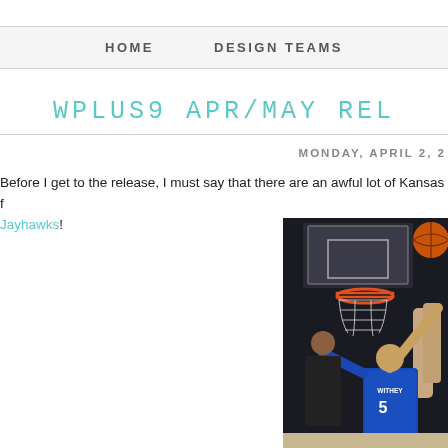HOME    DESIGN TEAMS
WPLUS9 APR/MAY REL
MONDAY, APRIL 2, 2
Before I get to the release, I must say that there are an awful lot of Kansas f Jayhawks!
[Figure (photo): Basketball game photo showing players reaching for the ball near the hoop. A player with jersey number 5 and name WITHEY is visible in a blue Kansas Jayhawks uniform.]